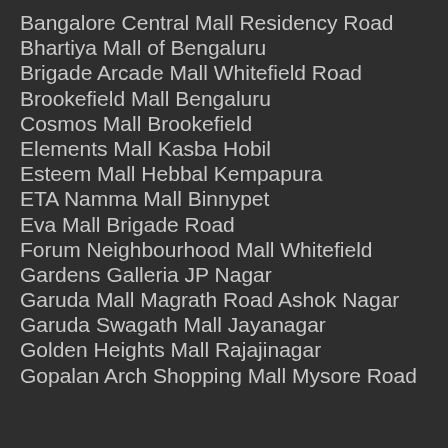Bangalore Central Mall Residency Road
Bhartiya Mall of Bengaluru
Brigade Arcade Mall Whitefield Road
Brookefield Mall Bengaluru
Cosmos Mall Brookefield
Elements Mall Kasba Hobil
Esteem Mall Hebbal Kempapura
ETA Namma Mall Binnypet
Eva Mall Brigade Road
Forum Neighbourhood Mall Whitefield
Gardens Galleria JP Nagar
Garuda Mall Magrath Road Ashok Nagar
Garuda Swagath Mall Jayanagar
Golden Heights Mall Rajajinagar
Gopalan Arch Shopping Mall Mysore Road